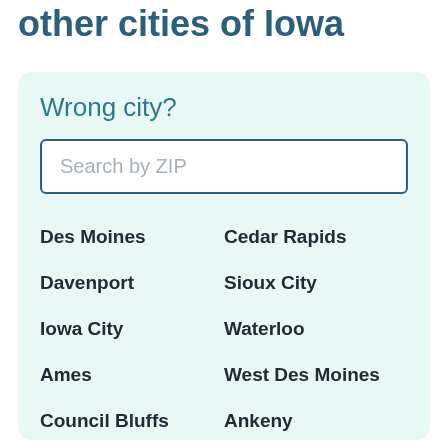other cities of Iowa
Wrong city?
Search by ZIP
Des Moines
Cedar Rapids
Davenport
Sioux City
Iowa City
Waterloo
Ames
West Des Moines
Council Bluffs
Ankeny